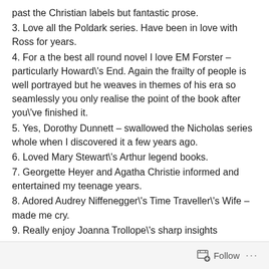past the Christian labels but fantastic prose.
3. Love all the Poldark series. Have been in love with Ross for years.
4. For a the best all round novel I love EM Forster – particularly Howard\'s End. Again the frailty of people is well portrayed but he weaves in themes of his era so seamlessly you only realise the point of the book after you\'ve finished it.
5. Yes, Dorothy Dunnett – swallowed the Nicholas series whole when I discovered it a few years ago.
6. Loved Mary Stewart\'s Arthur legend books.
7. Georgette Heyer and Agatha Christie informed and entertained my teenage years.
8. Adored Audrey Niffenegger\'s Time Traveller\'s Wife – made me cry.
9. Really enjoy Joanna Trollope\'s sharp insights
10. As a Francophile and a good laugh Peter Mayle gives me a warm fuzzy feeling.
There are so many others and I\'m pressed for time and have
Follow ...